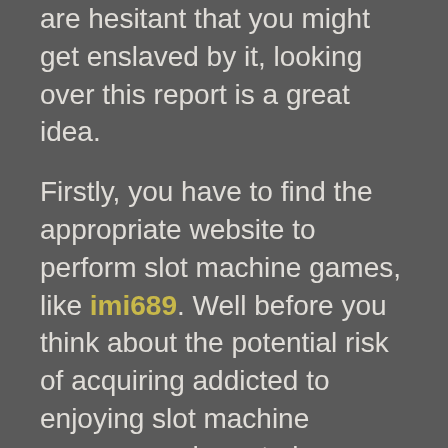are hesitant that you might get enslaved by it, looking over this report is a great idea.
Firstly, you have to find the appropriate website to perform slot machine games, like imi689. Well before you think about the potential risk of acquiring addicted to enjoying slot machine games, you have to know initial where you will have.
Just so you realize, most of these port internet